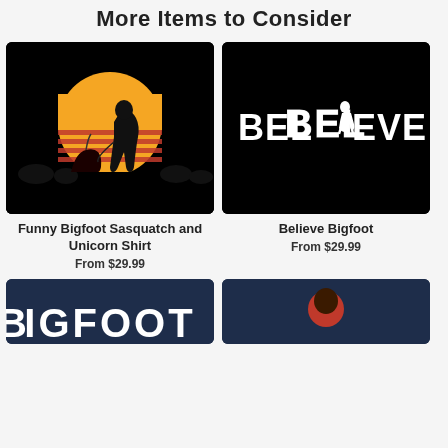More Items to Consider
[Figure (photo): Black background product image showing Bigfoot/Sasquatch silhouette walking a unicorn in front of a retro orange/yellow sunset circle]
Funny Bigfoot Sasquatch and Unicorn Shirt
From $29.99
[Figure (photo): Black background product image with white distressed text reading BELIEVE with a Bigfoot silhouette replacing the letter I]
Believe Bigfoot
From $29.99
[Figure (photo): Navy blue background product image with white arched text reading BIGFOOT (partially visible, cropped at bottom)]
[Figure (photo): Navy blue background product image, partially visible, cropped at bottom]